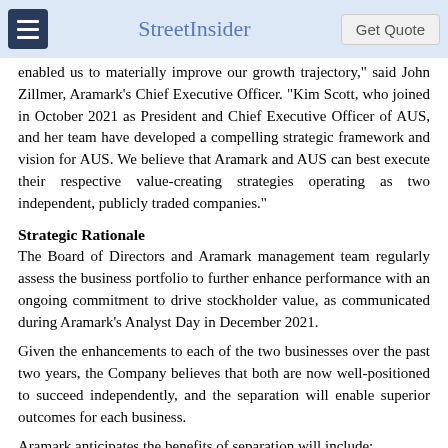StreetInsider
enabled us to materially improve our growth trajectory," said John Zillmer, Aramark’s Chief Executive Officer. “Kim Scott, who joined in October 2021 as President and Chief Executive Officer of AUS, and her team have developed a compelling strategic framework and vision for AUS. We believe that Aramark and AUS can best execute their respective value-creating strategies operating as two independent, publicly traded companies.”
Strategic Rationale
The Board of Directors and Aramark management team regularly assess the business portfolio to further enhance performance with an ongoing commitment to drive stockholder value, as communicated during Aramark’s Analyst Day in December 2021.
Given the enhancements to each of the two businesses over the past two years, the Company believes that both are now well-positioned to succeed independently, and the separation will enable superior outcomes for each business.
Aramark anticipates the benefits of separation will include:
Enabling the executive leadership and boards of each